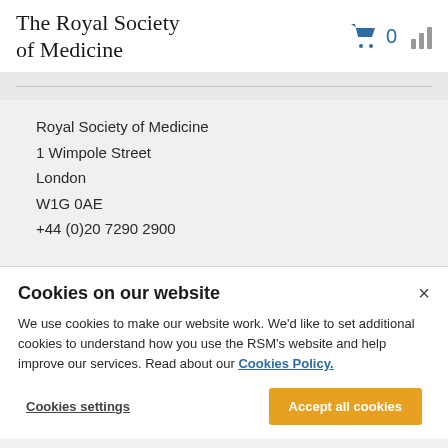The Royal Society of Medicine
Royal Society of Medicine
1 Wimpole Street
London
W1G 0AE
+44 (0)20 7290 2900
Cookies on our website
We use cookies to make our website work. We'd like to set additional cookies to understand how you use the RSM's website and help improve our services. Read about our Cookies Policy.
Cookies settings
Accept all cookies